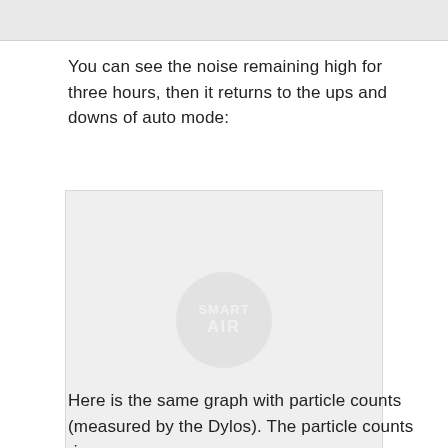[Figure (other): Top gray image strip partially visible at top of page]
You can see the noise remaining high for three hours, then it returns to the ups and downs of auto mode:
[Figure (other): Large light gray placeholder chart area with Smart Air watermark logo in the center]
Here is the same graph with particle counts (measured by the Dylos). The particle counts rise